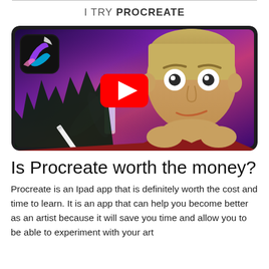I TRY PROCREATE
[Figure (screenshot): YouTube thumbnail showing an iPad with the Procreate app icon, a red YouTube play button overlay, colorful digital art background with trees/fantasy landscape, and an animated cartoon character of a man with light hair appearing to rest his chin on his hands, smirking.]
Is Procreate worth the money?
Procreate is an Ipad app that is definitely worth the cost and time to learn. It is an app that can help you become better as an artist because it will save you time and allow you to be able to experiment with your art